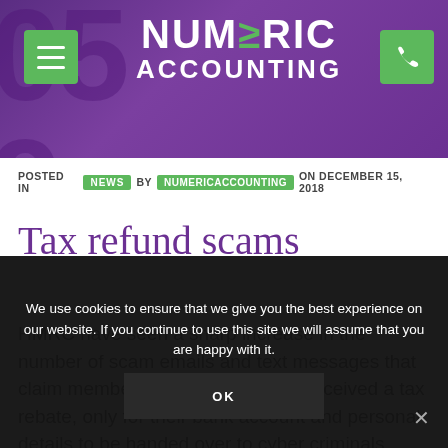[Figure (logo): Numeric Accounting website header with purple background, hamburger menu button, logo reading NUMERIC ACCOUNTING with green arrow, and green phone button]
POSTED IN NEWS BY NUMERICACCOUNTING ON DECEMBER 15, 2018
Tax refund scams
HMRC have seen a sharp increase in the number of scam emails and text messages that claim members of the public have received a tax rebate, only for their bank account and personal details to be handed over to cyber criminals.
We use cookies to ensure that we give you the best experience on our website. If you continue to use this site we will assume that you are happy with it.